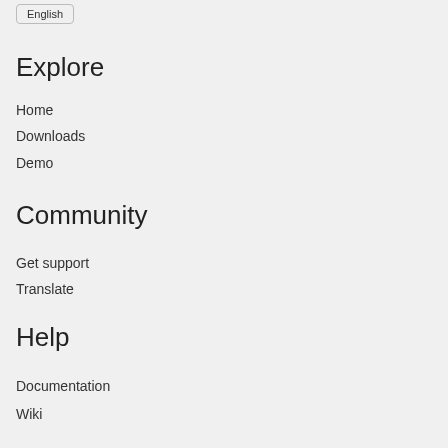English
Explore
Home
Downloads
Demo
Community
Get support
Translate
Help
Documentation
Wiki